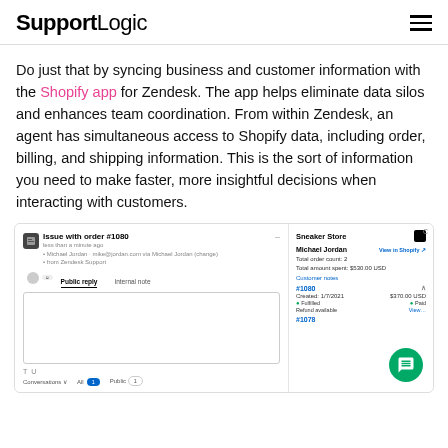SupportLogic
Do just that by syncing business and customer information with the Shopify app for Zendesk. The app helps eliminate data silos and enhances team coordination. From within Zendesk, an agent has simultaneous access to Shopify data, including order, billing, and shipping information. This is the sort of information you need to make faster, more insightful decisions when interacting with customers.
[Figure (screenshot): Screenshot of Zendesk support interface showing a ticket 'Issue with order #1080' with a public reply editor on the left, and a Shopify sidebar panel on the right showing customer Michael Jordan's order details for Sneaker Store including order #1080 created 1/7/2021 for $370.00 USD and order #1078.]